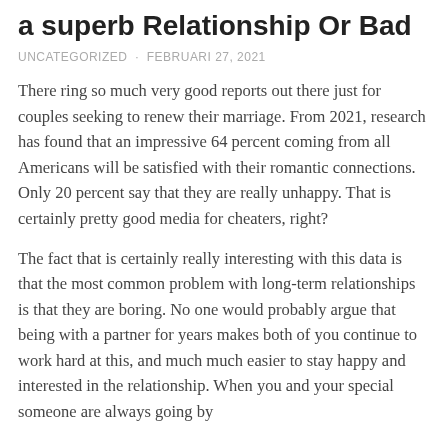a superb Relationship Or Bad
UNCATEGORIZED · FEBRUARI 27, 2021
There ring so much very good reports out there just for couples seeking to renew their marriage. From 2021, research has found that an impressive 64 percent coming from all Americans will be satisfied with their romantic connections. Only 20 percent say that they are really unhappy. That is certainly pretty good media for cheaters, right?
The fact that is certainly really interesting with this data is that the most common problem with long-term relationships is that they are boring. No one would probably argue that being with a partner for years makes both of you continue to work hard at this, and much much easier to stay happy and interested in the relationship. When you and your special someone are always going by